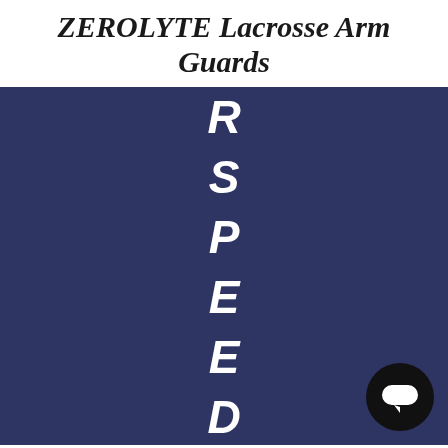ZEROLYTE Lacrosse Arm Guards
[Figure (other): Dark navy blue background with vertical italic bold white letters spelling R S P E E D & M O from top to bottom, with a chat bubble icon in the bottom right corner.]